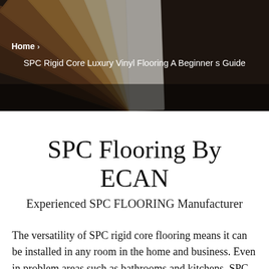[Figure (photo): Fan of SPC luxury vinyl flooring planks in various wood tones spread out against a dark background]
Home > SPC Rigid Core Luxury Vinyl Flooring A Beginner s Guide
SPC Flooring By ECAN
Experienced SPC FLOORING Manufacturer
The versatility of SPC rigid core flooring means it can be installed in any room in the home and business. Even in problem areas such as bathrooms and kitchens, SPC flooring is waterproof and therefore perfect for these installations. With the ultra stable core, it is also ideal for